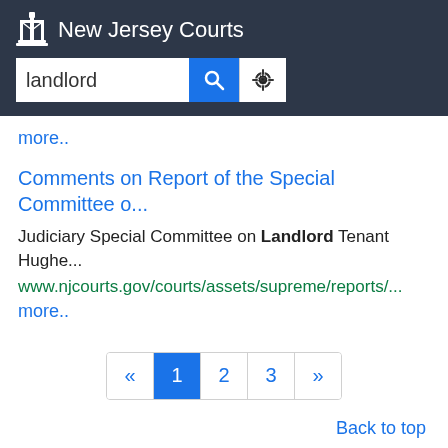[Figure (logo): New Jersey Courts logo with scales of justice icon and white text on dark background header]
more..
Comments on Report of the Special Committee o...
Judiciary Special Committee on Landlord Tenant Hughe...
www.njcourts.gov/courts/assets/supreme/reports/...
more..
« 1 2 3 »
Back to top